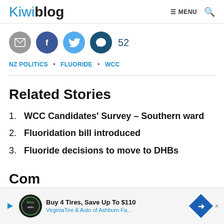Kiwiblog — MENU [search]
[Figure (infographic): Social sharing icons row: email (grey circle), Facebook (dark blue circle with f), Twitter (light blue circle with bird), comment/speech bubble (dark blue circle), followed by the number 52]
NZ POLITICS • FLUORIDE • WCC
Related Stories
1. WCC Candidates' Survey – Southern ward
2. Fluoridation bill introduced
3. Fluoride decisions to move to DHBs
[Figure (infographic): Advertisement banner: Buy 4 Tires, Save Up To $110 — VirginiaTire & Auto of Ashburn Fa. with logo and arrow icon]
Com...